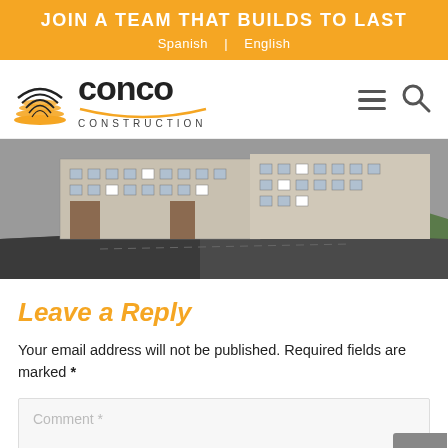JOIN A TEAM THAT BUILDS TO LAST
Spanish | English
[Figure (logo): Conco Construction logo with stacked arc icon and orange underline beneath CONCO wordmark]
[Figure (photo): Aerial 3D rendering of a multi-story apartment or mixed-use building complex viewed from above at an angle, showing roof and street layout]
Leave a Reply
Your email address will not be published. Required fields are marked *
Comment *